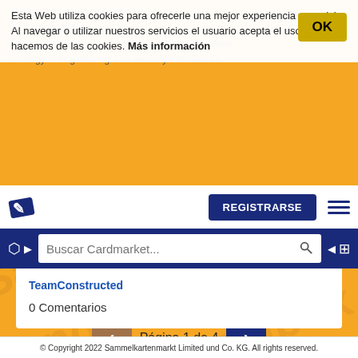Esta Web utiliza cookies para ofrecerle una mejor experiencia y servicio. Al navegar o utilizar nuestros servicios el usuario acepta el uso que hacemos de las cookies. Más información
[Figure (screenshot): Cardmarket website navigation bar with logo, REGISTRARSE button, and hamburger menu icon]
[Figure (screenshot): Search bar with cube icon, text input 'Buscar Cardmarket...' and search button on dark blue background]
TeamConstructed
0 Comentarios
Página 1 de 4
© Copyright 2022 Sammelkartenmarkt Limited und Co. KG. All rights reserved.